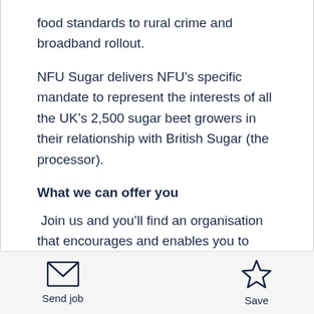food standards to rural crime and broadband rollout.
NFU Sugar delivers NFU’s specific mandate to represent the interests of all the UK’s 2,500 sugar beet growers in their relationship with British Sugar (the processor).
What we can offer you
Join us and you’ll find an organisation that encourages and enables you to achieve your full potential. We’ll support you in building a career that balances your professional ambitions with your
Send job  Save